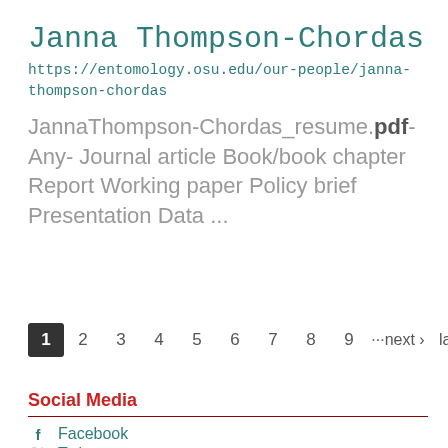Janna Thompson-Chordas
https://entomology.osu.edu/our-people/janna-thompson-chordas
JannaThompson-Chordas_resume.pdf- Any- Journal article Book/book chapter Report Working paper Policy brief Presentation Data ...
1 2 3 4 5 6 7 8 9 ···next › last »
Social Media
Facebook
Twitter